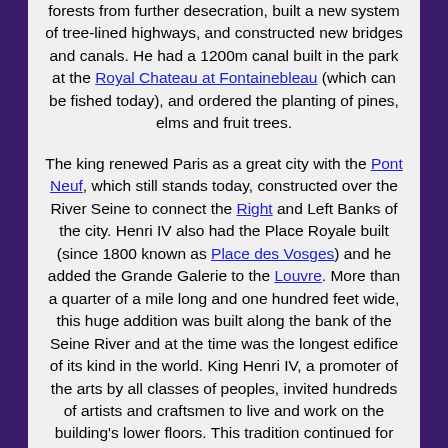forests from further desecration, built a new system of tree-lined highways, and constructed new bridges and canals. He had a 1200m canal built in the park at the Royal Chateau at Fontainebleau (which can be fished today), and ordered the planting of pines, elms and fruit trees.
The king renewed Paris as a great city with the Pont Neuf, which still stands today, constructed over the River Seine to connect the Right and Left Banks of the city. Henri IV also had the Place Royale built (since 1800 known as Place des Vosges) and he added the Grande Galerie to the Louvre. More than a quarter of a mile long and one hundred feet wide, this huge addition was built along the bank of the Seine River and at the time was the longest edifice of its kind in the world. King Henri IV, a promoter of the arts by all classes of peoples, invited hundreds of artists and craftsmen to live and work on the building's lower floors. This tradition continued for another two hundred years until Emperor Napoleon I banned it.